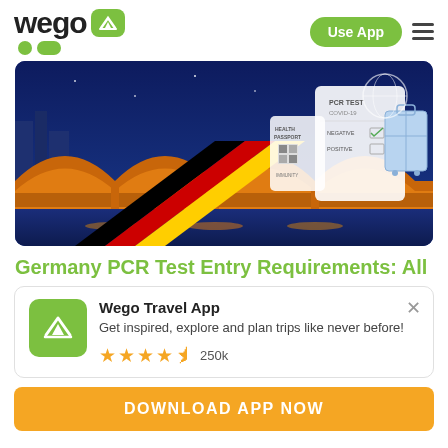[Figure (logo): Wego logo with green airplane icon and circular design elements]
Use App
[Figure (photo): Germany travel banner image showing a bridge at night with German flag and PCR test/health passport illustration overlaid on right side]
Germany PCR Test Entry Requirements: All
Wego Travel App
Get inspired, explore and plan trips like never before!
★★★★½ 250k
DOWNLOAD APP NOW